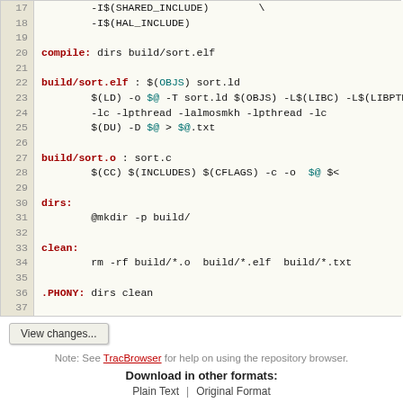[Figure (screenshot): Code viewer showing a Makefile snippet, lines 17-37, with syntax highlighting. Line numbers on the left in a beige column. Keywords like 'compile:', 'build/sort.elf', 'build/sort.o', 'dirs:', 'clean:', '.PHONY:' in dark red bold. Variables like $(OBJS), $@, $< in teal. Rest of code in black monospace font.]
View changes...
Note: See TracBrowser for help on using the repository browser.
Download in other formats:
Plain Text | Original Format
Powered by Trac 1.2.3 By Edgewall Software. Visit the Trac open source project at http://trac.edgewall.org/